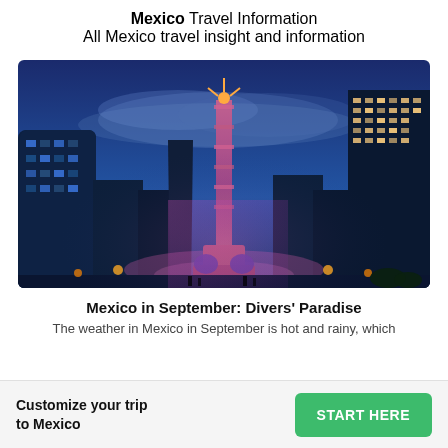Mexico Travel Information
All Mexico travel insight and information
[Figure (photo): Night photograph of the Angel of Independence monument in Mexico City, illuminated in pink and purple, surrounded by city buildings under a blue evening sky.]
Mexico in September: Divers' Paradise
The weather in Mexico in September is hot and rainy, which
Customize your trip to Mexico
START HERE